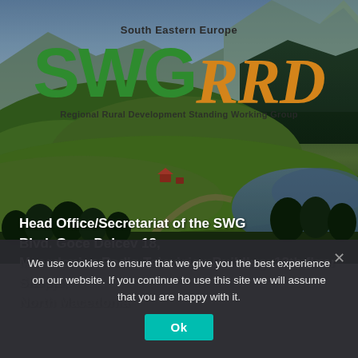[Figure (photo): Aerial landscape photo of green rolling hills, forests, a river or lake, and mountains in the background — typical South Eastern European rural scenery.]
South Eastern Europe SWG RRD Regional Rural Development Standing Working Group
Head Office/Secretariat of the SWG Blvd. Goce Delcev 18, Macedonian Radio Television Building, 12th floor Skopje, North Macedonia
We use cookies to ensure that we give you the best experience on our website. If you continue to use this site we will assume that you are happy with it.